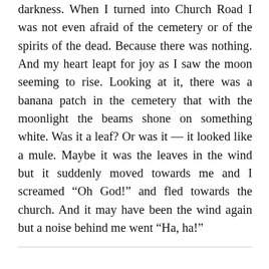darkness. When I turned into Church Road I was not even afraid of the cemetery or of the spirits of the dead. Because there was nothing. And my heart leapt for joy as I saw the moon seeming to rise. Looking at it, there was a banana patch in the cemetery that with the moonlight the beams shone on something white. Was it a leaf? Or was it — it looked like a mule. Maybe it was the leaves in the wind but it suddenly moved towards me and I screamed “Oh God!” and fled towards the church. And it may have been the wind again but a noise behind me went “Ha, ha!”